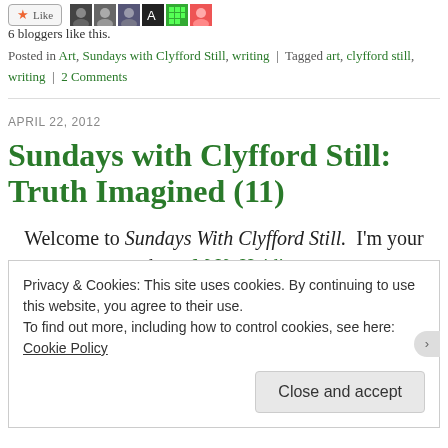[Figure (other): Like button and blogger avatar images at top of blog page]
6 bloggers like this.
Posted in Art, Sundays with Clyfford Still, writing | Tagged art, clyfford still, writing | 2 Comments
Sundays with Clyfford Still: Truth Imagined (11)
APRIL 22, 2012
Welcome to Sundays With Clyfford Still.  I'm your host, M.K. Hajdin.
Privacy & Cookies: This site uses cookies. By continuing to use this website, you agree to their use. To find out more, including how to control cookies, see here: Cookie Policy
Close and accept